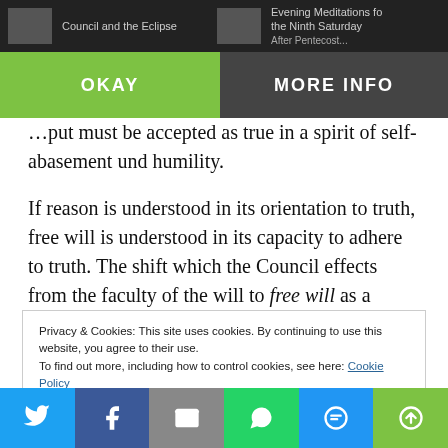This website uses cookies | OKAY | MORE INFO
…put must be accepted as true in a spirit of self-abasement und humility.
If reason is understood in its orientation to truth, free will is understood in its capacity to adhere to truth. The shift which the Council effects from the faculty of the will to free will as a source of man's dignity is significant, because in effect it deifies his freedom.
Privacy & Cookies: This site uses cookies. By continuing to use this website, you agree to their use.
To find out more, including how to control cookies, see here: Cookie Policy
Twitter | Facebook | Email | WhatsApp | SMS | More